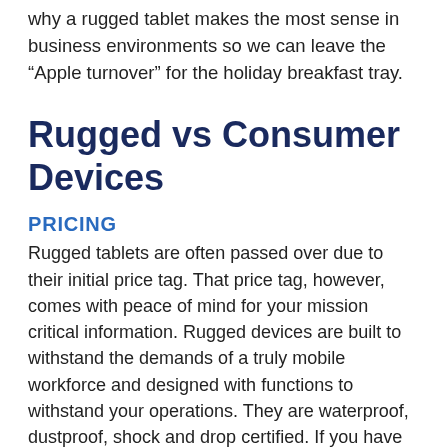why a rugged tablet makes the most sense in business environments so we can leave the “Apple turnover” for the holiday breakfast tray.
Rugged vs Consumer Devices
PRICING
Rugged tablets are often passed over due to their initial price tag. That price tag, however, comes with peace of mind for your mission critical information. Rugged devices are built to withstand the demands of a truly mobile workforce and designed with functions to withstand your operations. They are waterproof, dustproof, shock and drop certified. If you have